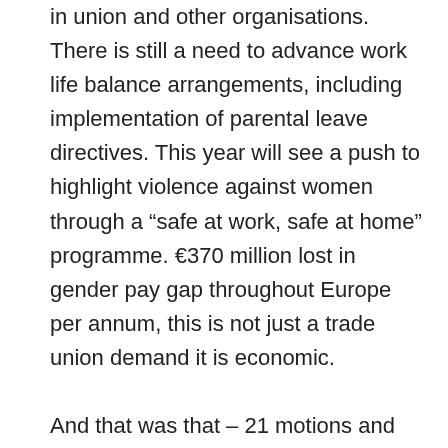in union and other organisations. There is still a need to advance work life balance arrangements, including implementation of parental leave directives. This year will see a push to highlight violence against women through a “safe at work, safe at home” programme. €370 million lost in gender pay gap throughout Europe per annum, this is not just a trade union demand it is economic.

And that was that – 21 motions and not one speaker against but a very inclusive conference. There was a strong feeling of solidarity for all speakers to motions, encouraging people to speak